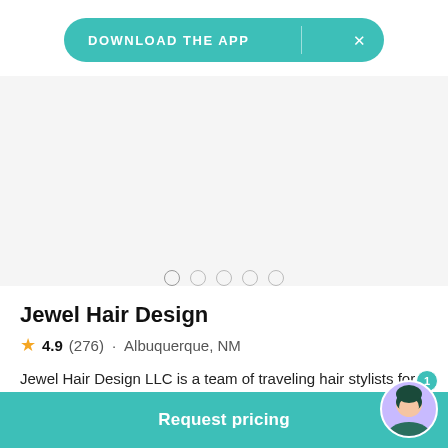DOWNLOAD THE APP
[Figure (photo): Image carousel area showing photos (blank/loading state) with navigation dots below]
Jewel Hair Design
4.9 (276) · Albuquerque, NM
Jewel Hair Design LLC is a team of traveling hair stylists for weddings in the New Mexico area and beyond. This team… Read more
Request pricing